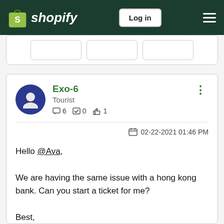Shopify — Log in
[Figure (screenshot): Partial view of navigation buttons, cut off at top]
Exo-6
Tourist
6 posts · 0 solutions · 1 like
02-22-2021 01:46 PM
Hello @Ava,

We are having the same issue with a hong kong bank. Can you start a ticket for me?

Best,